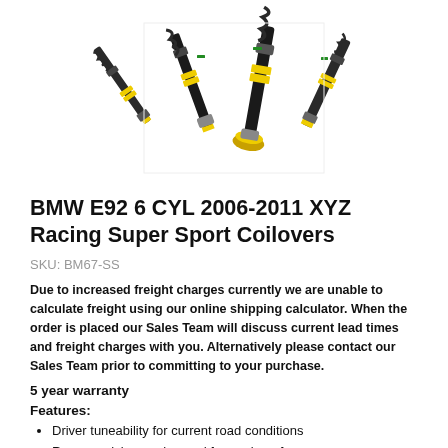[Figure (photo): Product photo of BMW E92 XYZ Racing Super Sport Coilovers — black and yellow coilover shock absorbers arranged diagonally on white background]
BMW E92 6 CYL 2006-2011 XYZ Racing Super Sport Coilovers
SKU: BM67-SS
Due to increased freight charges currently we are unable to calculate freight using our online shipping calculator. When the order is placed our Sales Team will discuss current lead times and freight charges with you. Alternatively please contact our Sales Team prior to committing to your purchase.
5 year warranty
Features:
Driver tuneability for current road conditions
Race precision engineered for peak performance
Dyno-tested for highest quality control